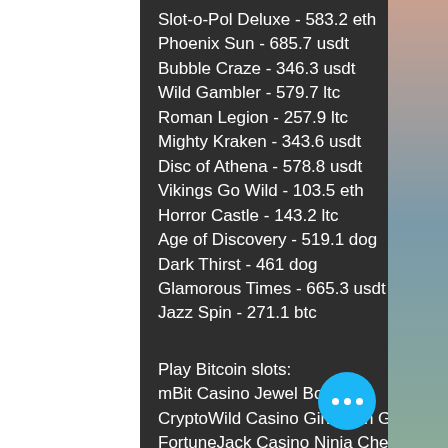Slot-o-Pol Deluxe - 583.2 eth
Phoenix Sun - 685.7 usdt
Bubble Craze - 346.3 usdt
Wild Gambler - 579.7 ltc
Roman Legion - 257.9 ltc
Mighty Kraken - 343.6 usdt
Disc of Athena - 578.8 usdt
Vikings Go Wild - 103.5 eth
Horror Castle - 143.2 ltc
Age of Discovery - 519.1 dog
Dark Thirst - 461 dog
Glamorous Times - 665.3 usdt
Jazz Spin - 271.1 btc
Play Bitcoin slots:
mBit Casino Jewel Box
CryptoWild Casino Girls with Guns Frozen Dawn
FortuneJack Casino Ninja Chef
King Billy Casino Reel Rush
Betcoin.ag Casino Genius Touch